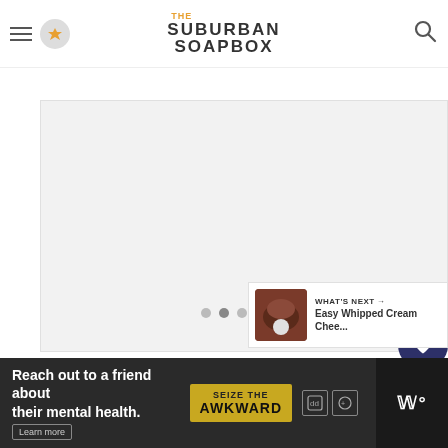The Suburban Soapbox
Dip a pastry brush in the cake soak and brush the soak over the cake rounds.
[Figure (photo): Large light gray placeholder image area for a cake recipe step photo]
[Figure (infographic): Side panel with heart/like button showing count 4, and share button]
[Figure (infographic): What's Next panel showing Easy Whipped Cream Chee... with thumbnail]
[Figure (infographic): Advertisement bar: Reach out to a friend about their mental health. Learn more. SEIZE THE AWKWARD badge with icons.]